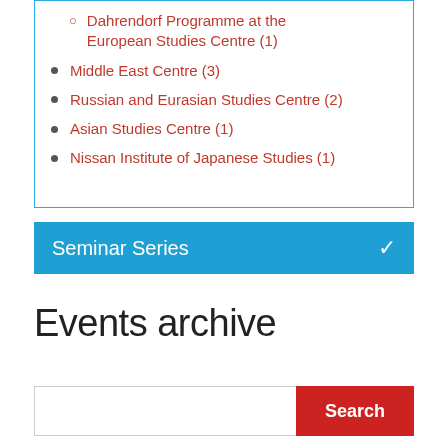Dahrendorf Programme at the European Studies Centre (1)
Middle East Centre (3)
Russian and Eurasian Studies Centre (2)
Asian Studies Centre (1)
Nissan Institute of Japanese Studies (1)
Seminar Series
Events archive
Search